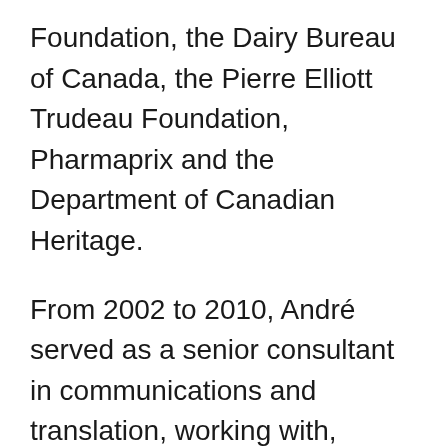Foundation, the Dairy Bureau of Canada, the Pierre Elliott Trudeau Foundation, Pharmaprix and the Department of Canadian Heritage.
From 2002 to 2010, André served as a senior consultant in communications and translation, working with, among others, Natural Resources Canada, Canada Post, and Rio Tinto Alcan.
André leaves a lasting legacy as a humanist, a brilliant intellectual, and as an indefatigable fighter who turned to politics to try to improve the lives of his fellow citizens. A passionate and deeply knowledgeable follower of Canadian, American and international politics, he had a reasoned but